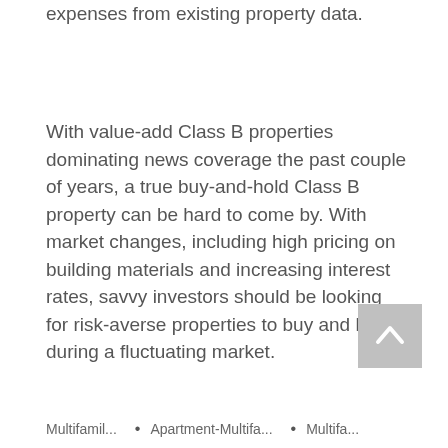expenses from existing property data.
With value-add Class B properties dominating news coverage the past couple of years, a true buy-and-hold Class B property can be hard to come by. With market changes, including high pricing on building materials and increasing interest rates, savvy investors should be looking for risk-averse properties to buy and hold during a fluctuating market.
[Figure (other): Scroll-to-top button: a grey square with an upward-pointing chevron/caret arrow]
Multifamil... • Apartment-Multifa... • Multifa...